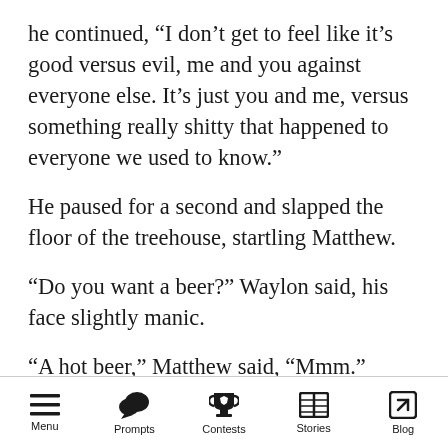he continued, “I don’t get to feel like it’s good versus evil, me and you against everyone else. It’s just you and me, versus something really shitty that happened to everyone we used to know.”
He paused for a second and slapped the floor of the treehouse, startling Matthew.
“Do you want a beer?” Waylon said, his face slightly manic.
“A hot beer,” Matthew said, “Mmm.”
“Suit yourself.”
“No, no, I do. Sorry. I was just being a dick,” Matthew said.
“No, I’m sorry.”
Menu  Prompts  Contests  Stories  Blog